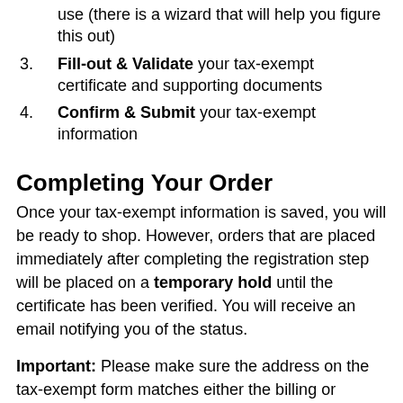use (there is a wizard that will help you figure this out)
Fill-out & Validate your tax-exempt certificate and supporting documents
Confirm & Submit your tax-exempt information
Completing Your Order
Once your tax-exempt information is saved, you will be ready to shop. However, orders that are placed immediately after completing the registration step will be placed on a temporary hold until the certificate has been verified. You will receive an email notifying you of the status.
Important: Please make sure the address on the tax-exempt form matches either the billing or shipping address on your order. If you need help or your request is